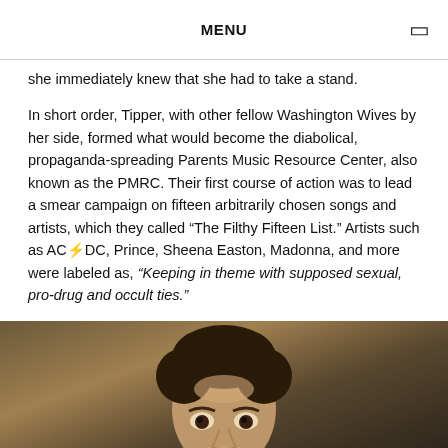MENU
she immediately knew that she had to take a stand.
In short order, Tipper, with other fellow Washington Wives by her side, formed what would become the diabolical, propaganda-spreading Parents Music Resource Center, also known as the PMRC. Their first course of action was to lead a smear campaign on fifteen arbitrarily chosen songs and artists, which they called “The Filthy Fifteen List.” Artists such as AC⚡DC, Prince, Sheena Easton, Madonna, and more were labeled as, “Keeping in theme with supposed sexual, pro-drug and occult ties.”
[Figure (photo): A man with dark curly hair, looking up at the camera, photographed from the shoulders up in a dimly lit indoor setting.]